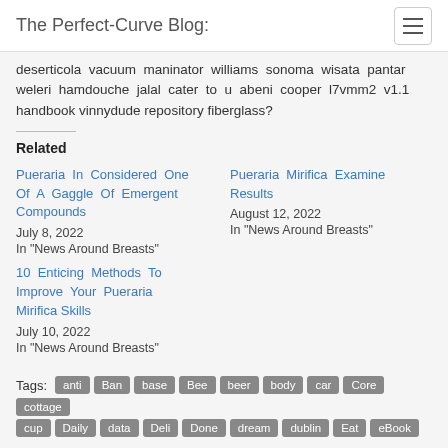The Perfect-Curve Blog:
deserticola vacuum maninator williams sonoma wisata pantar weleri hamdouche jalal cater to u abeni cooper l7vmm2 v1.1 handbook vinnydude repository fiberglass?
Related
Pueraria In Considered One Of A Gaggle Of Emergent Compounds
July 8, 2022
In "News Around Breasts"
Pueraria Mirifica Examine Results
August 12, 2022
In "News Around Breasts"
10 Enticing Methods To Improve Your Pueraria Mirifica Skills
July 10, 2022
In "News Around Breasts"
Tags: anti Ban base Bee beer body car Core cottage cup Daily data Deli Done dream dublin Eat eBook